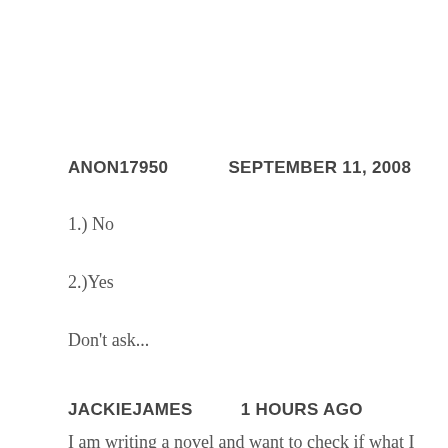ANON17950   SEPTEMBER 11, 2008
1.) No
2.)Yes
Don't ask...
JACKIEJAMES   1 HOURS AGO
I am writing a novel and want to check if what I propose will work.